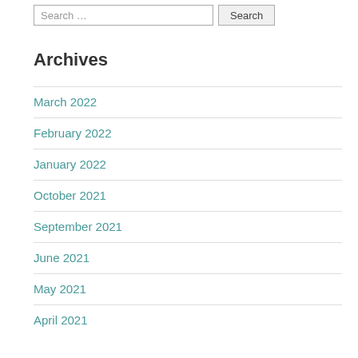Search …
Archives
March 2022
February 2022
January 2022
October 2021
September 2021
June 2021
May 2021
April 2021